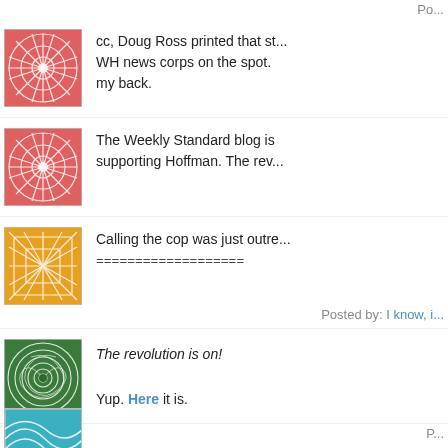Po...
[Figure (illustration): Red/pink abstract web/sunburst avatar icon]
cc, Doug Ross printed that st... WH news corps on the spot. my back.
[Figure (illustration): Red/pink abstract web/sunburst avatar icon]
The Weekly Standard blog is supporting Hoffman. The rev...
[Figure (illustration): Orange/yellow abstract web/grid avatar icon]
Calling the cop was just outre... ===================
Posted by: I know, i...
[Figure (illustration): Green spiral/concentric circles avatar icon]
The revolution is on!
Yup. Here it is.
P...
[Figure (illustration): Blue/teal wave pattern avatar icon (partial)]